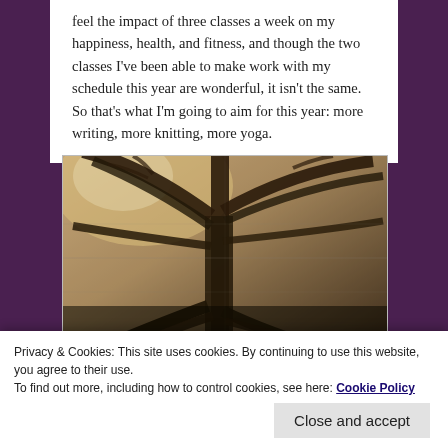feel the impact of three classes a week on my happiness, health, and fitness, and though the two classes I've been able to make work with my schedule this year are wonderful, it isn't the same. So that's what I'm going to aim for this year: more writing, more knitting, more yoga.
[Figure (photo): A sepia/black-and-white photograph of tree branches and roots, taken from below looking up, with light filtering through. The image appears to be overlaid with a grid or mesh pattern.]
Privacy & Cookies: This site uses cookies. By continuing to use this website, you agree to their use.
To find out more, including how to control cookies, see here: Cookie Policy
Close and accept